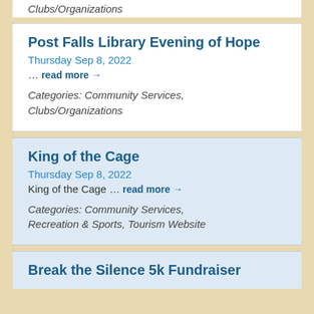Clubs/Organizations
Post Falls Library Evening of Hope
Thursday Sep 8, 2022
… read more →
Categories: Community Services, Clubs/Organizations
King of the Cage
Thursday Sep 8, 2022
King of the Cage … read more →
Categories: Community Services, Recreation & Sports, Tourism Website
Break the Silence 5k Fundraiser